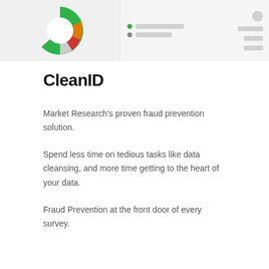[Figure (screenshot): UI screenshot showing a donut chart in green, orange, red tones with a white center, a legend panel with colored dots and gray bars, and a right panel with a gray circle and gray bars]
CleanID
Market Research's proven fraud prevention solution.
Spend less time on tedious tasks like data cleansing, and more time getting to the heart of your data.
Fraud Prevention at the front door of every survey.